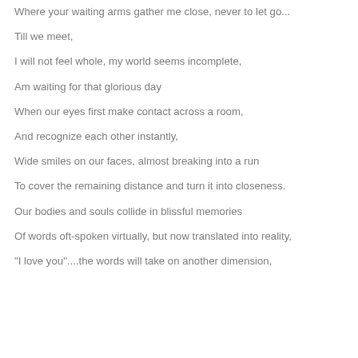Where your waiting arms gather me close, never to let go...
Till we meet,
I will not feel whole, my world seems incomplete,
Am waiting for that glorious day
When our eyes first make contact across a room,
And recognize each other instantly,
Wide smiles on our faces, almost breaking into a run
To cover the remaining distance and turn it into closeness.
Our bodies and souls collide in blissful memories
Of words oft-spoken virtually, but now translated into reality,
"I love you"....the words will take on another dimension,